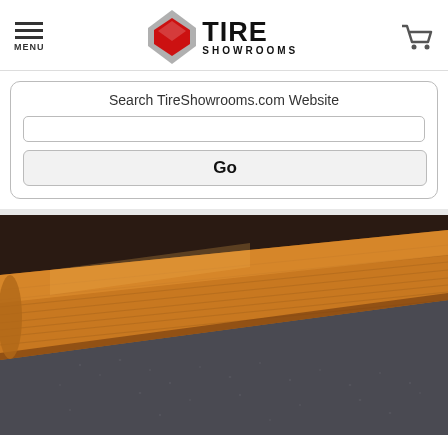[Figure (logo): Tire Showrooms logo with red diamond icon and bold text]
Search TireShowrooms.com Website
[Figure (photo): Close-up photo of a wooden molding strip (golden oak color) resting on dark gray carpet, viewed at an angle against a dark background]